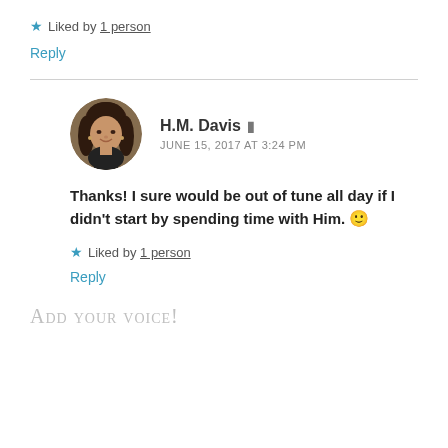★ Liked by 1 person
Reply
H.M. Davis  JUNE 15, 2017 AT 3:24 PM
Thanks! I sure would be out of tune all day if I didn't start by spending time with Him. 🙂
★ Liked by 1 person
Reply
Add your voice!